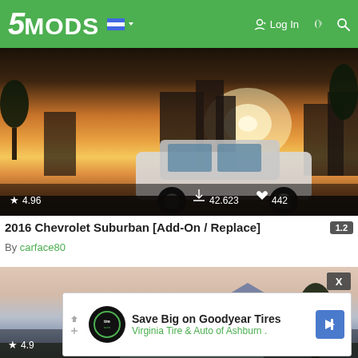5MODS | Log In
[Figure (screenshot): GTA V screenshot showing a white Chevrolet Suburban SUV in an urban city scene with dramatic orange/pink sunset sky, buildings in background. Stats overlay: star 4.96, downloads 42,623, likes 442]
2016 Chevrolet Suburban [Add-On / Replace] 1.2
By carface80
[Figure (screenshot): GTA V screenshot showing a mountain landscape scene at dusk with pink/purple sky, trees on right, and partial stat overlay showing 4.9x rating and 333 likes. Advertisement overlay: Save Big on Goodyear Tires - Virginia Tire & Auto of Ashburn]